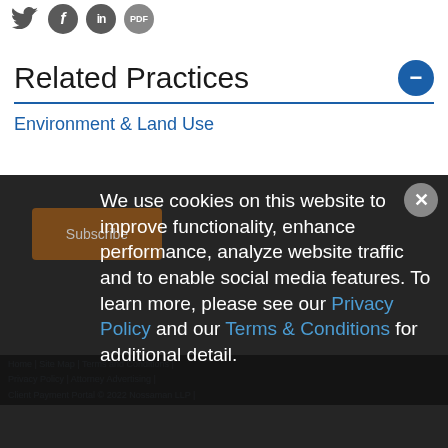Social icons: Twitter, Facebook, LinkedIn, PDF
Related Practices
Environment & Land Use
We use cookies on this website to improve functionality, enhance performance, analyze website traffic and to enable social media features. To learn more, please see our Privacy Policy and our Terms & Conditions for additional detail.
Home | Site Map | Terms and Conditions | Privacy Policy | Attorney Advertising | Client Payment Portal © 2022 Nossaman LLP |